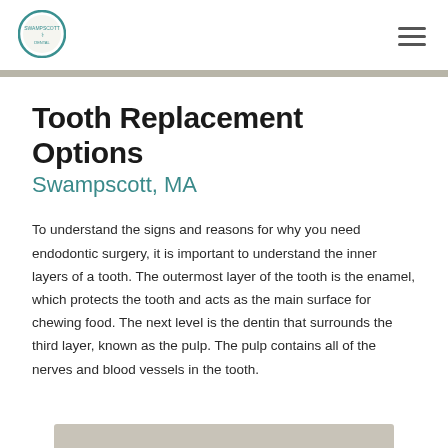[Figure (logo): Circular dental practice logo with teal/green border and text]
Tooth Replacement Options
Swampscott, MA
To understand the signs and reasons for why you need endodontic surgery, it is important to understand the inner layers of a tooth. The outermost layer of the tooth is the enamel, which protects the tooth and acts as the main surface for chewing food. The next level is the dentin that surrounds the third layer, known as the pulp. The pulp contains all of the nerves and blood vessels in the tooth.